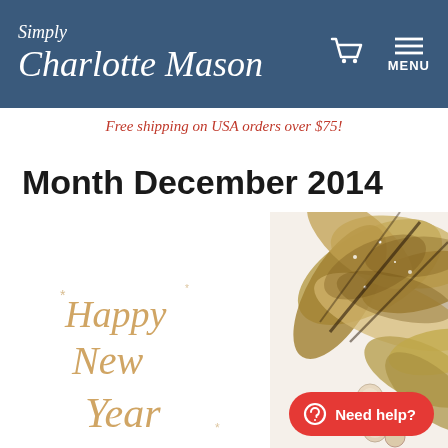Simply Charlotte Mason
Free shipping on USA orders over $75!
Month December 2014
[Figure (photo): Happy New Year greeting image with gold glittery poinsettia flowers and pearl beads on a white background, with cursive gold text reading 'Happy New Year']
Need help?